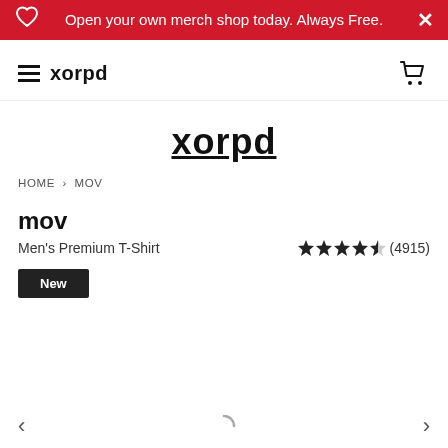Open your own merch shop today. Always Free.
xorpd
xorpd
HOME > MOV
mov
Men's Premium T-Shirt
★★★★½ (4915)
New